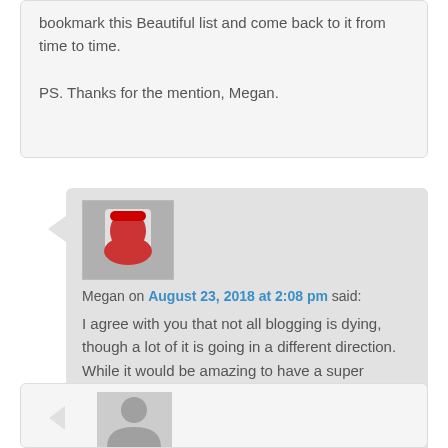bookmark this Beautiful list and come back to it from time to time.

PS. Thanks for the mention, Megan.
Megan on August 23, 2018 at 2:08 pm said:
I agree with you that not all blogging is dying, though a lot of it is going in a different direction. While it would be amazing to have a super popular blog, I don't want to sell out. I want this blog to be something I want to do, and it makes me happy.
[Figure (photo): Avatar photo of Megan — a person wearing a red cap and red top]
[Figure (illustration): Generic grey silhouette placeholder avatar]